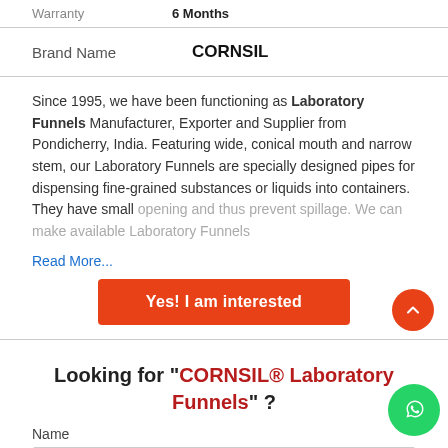| Warranty | 6 Months |
| Brand Name | CORNSIL |
Since 1995, we have been functioning as Laboratory Funnels Manufacturer, Exporter and Supplier from Pondicherry, India. Featuring wide, conical mouth and narrow stem, our Laboratory Funnels are specially designed pipes for dispensing fine-grained substances or liquids into containers. They have small opening and thus prevent spillage. We can make available Laboratory Funnels
Read More...
Yes! I am interested
Looking for "CORNSIL® Laboratory Funnels" ?
Name